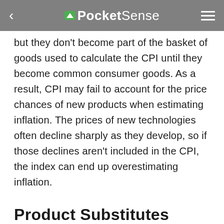PocketSense
but they don't become part of the basket of goods used to calculate the CPI until they become common consumer goods. As a result, CPI may fail to account for the price chances of new products when estimating inflation. The prices of new technologies often decline sharply as they develop, so if those declines aren't included in the CPI, the index can end up overestimating inflation.
Product Substitutes